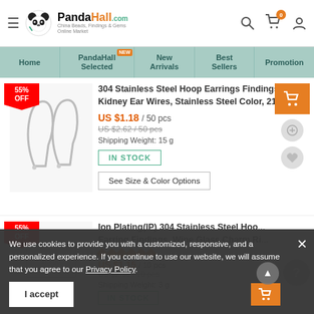PandaHall.com - China Beads, Findings & Gems Online Market
Home | PandaHall Selected (NEW) | New Arrivals | Best Sellers | Promotion
[Figure (photo): Stainless steel kidney hoop earring findings, silver color]
304 Stainless Steel Hoop Earrings Findings Kidney Ear Wires, Stainless Steel Color, 21...
US $1.18 / 50 pcs
US $2.62 / 50 pcs (original crossed-out price)
Shipping Weight: 15 g
IN STOCK
See Size & Color Options
Ion Plating(IP) 304 Stainless Steel Hoo... Earring Findings, Wine Glass Charm Ri...
US $1.15 / 10 pcs
US $2.56 / 10 pcs
Shipping Weight: 3 g
IN STOCK
We use cookies to provide you with a customized, responsive, and a personalized experience. If you continue to use our website, we will assume that you agree to our Privacy Policy.
I accept